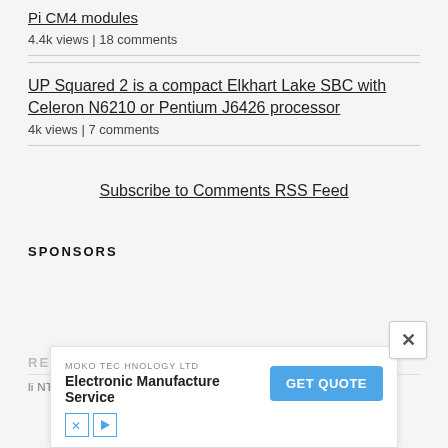Pi CM4 modules
4.4k views | 18 comments
UP Squared 2 is a compact Elkhart Lake SBC with Celeron N6210 or Pentium J6426 processor
4k views | 7 comments
Subscribe to Comments RSS Feed
SPONSORS
REC
[Figure (screenshot): Advertisement banner: MOKO TECHNOLOGY LTD - Electronic Manufacture Service with GET QUOTE button and close X button]
MOKO TECHNOLOGY LTD
Electronic Manufacture Service